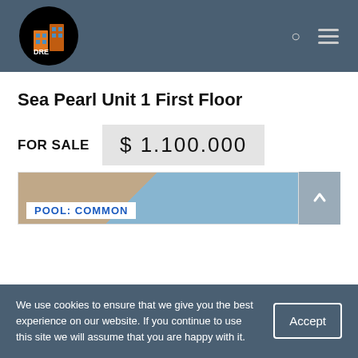[Figure (logo): DRE real estate logo — orange building/house icon with 'DRE' text inside a black circle]
Sea Pearl Unit 1 First Floor
FOR SALE
$ 1.100.000
[Figure (photo): Property image showing a beige/tan surface and blue sky, with 'POOL: COMMON' tag overlay]
We use cookies to ensure that we give you the best experience on our website. If you continue to use this site we will assume that you are happy with it.